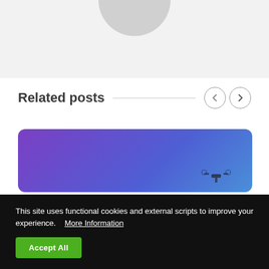[Figure (photo): Partial view of a circular avatar/profile image cut off at top of the page, light gray background]
Related posts
[Figure (photo): Card with purple to blue gradient background and partial drone silhouette visible at bottom right]
This site uses functional cookies and external scripts to improve your experience.  More Information
Accept All